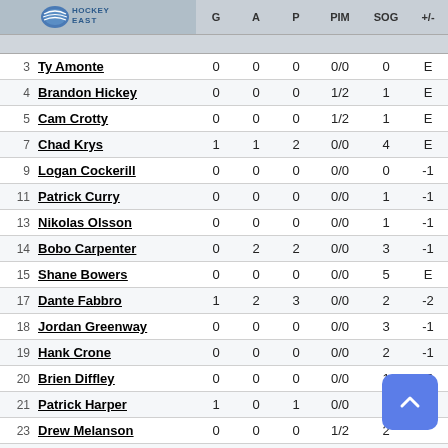| # | Player | G | A | P | PIM | SOG | +/- |
| --- | --- | --- | --- | --- | --- | --- | --- |
|  | Boston University | G | A | P | PIM | SOG | +/- |
| 3 | Ty Amonte | 0 | 0 | 0 | 0/0 | 0 | E |
| 4 | Brandon Hickey | 0 | 0 | 0 | 1/2 | 1 | E |
| 5 | Cam Crotty | 0 | 0 | 0 | 1/2 | 1 | E |
| 7 | Chad Krys | 1 | 1 | 2 | 0/0 | 4 | E |
| 9 | Logan Cockerill | 0 | 0 | 0 | 0/0 | 0 | -1 |
| 11 | Patrick Curry | 0 | 0 | 0 | 0/0 | 1 | -1 |
| 13 | Nikolas Olsson | 0 | 0 | 0 | 0/0 | 1 | -1 |
| 14 | Bobo Carpenter | 0 | 2 | 2 | 0/0 | 3 | -1 |
| 15 | Shane Bowers | 0 | 0 | 0 | 0/0 | 5 | E |
| 17 | Dante Fabbro | 1 | 2 | 3 | 0/0 | 2 | -2 |
| 18 | Jordan Greenway | 0 | 0 | 0 | 0/0 | 3 | -1 |
| 19 | Hank Crone | 0 | 0 | 0 | 0/0 | 2 | -1 |
| 20 | Brien Diffley | 0 | 0 | 0 | 0/0 | 1 | E |
| 21 | Patrick Harper | 1 | 0 | 1 | 0/0 | 2 | E |
| 23 | Drew Melanson | 0 | 0 | 0 | 1/2 | 2 |  |
| 25 | David Farrance | 0 | 0 | 0 | 0/0 | 1 | -1 |